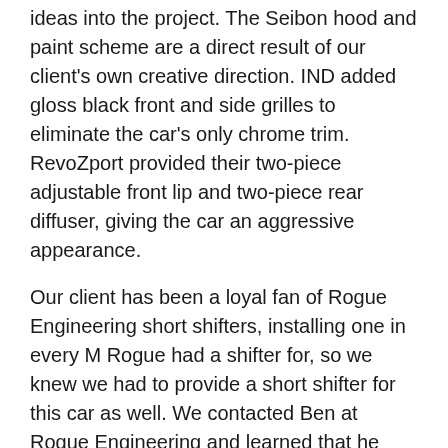ideas into the project. The Seibon hood and paint scheme are a direct result of our client's own creative direction. IND added gloss black front and side grilles to eliminate the car's only chrome trim. RevoZport provided their two-piece adjustable front lip and two-piece rear diffuser, giving the car an aggressive appearance.
Our client has been a loyal fan of Rogue Engineering short shifters, installing one in every M Rogue had a shifter for, so we knew we had to provide a short shifter for this car as well. We contacted Ben at Rogue Engineering and learned that he was developing a shifter but would not have a ready to sell solution ready for another two months. Despite this, Ben was able to build a one-off pre-production short shifter for our 1M project just days after we requested the piece.